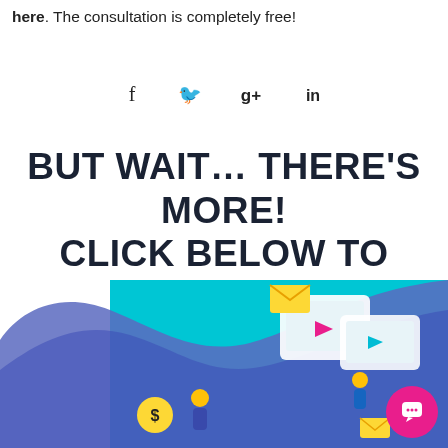here. The consultation is completely free!
[Figure (infographic): Social media share icons: Facebook (f), Twitter (bird), Google+ (g+), LinkedIn (in)]
BUT WAIT… THERE'S MORE! CLICK BELOW TO KEEP LEARNING!
[Figure (illustration): Banner illustration with blue/purple wave background and digital marketing icons, devices, people interacting with screens and a magenta chat bubble in bottom right corner.]